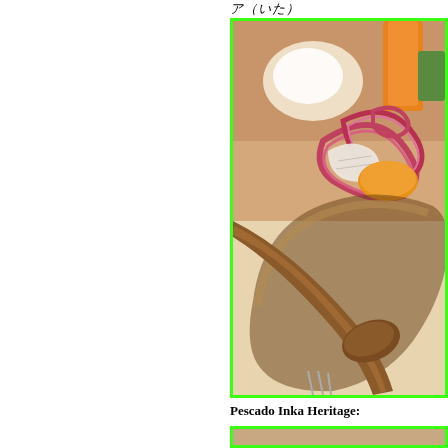ア（いた）
[Figure (photo): Close-up photo of a ceviche dish in a glass bowl, showing marinated fish pieces, pink/red onion rings, and orange sweet potato, with a wooden spoon visible, set on a table with white tablecloth. Bordered with bright green frame.]
Pescado Inka Heritage:
[Figure (photo): Partial view of another food dish, bottom portion cut off, with bright green border.]